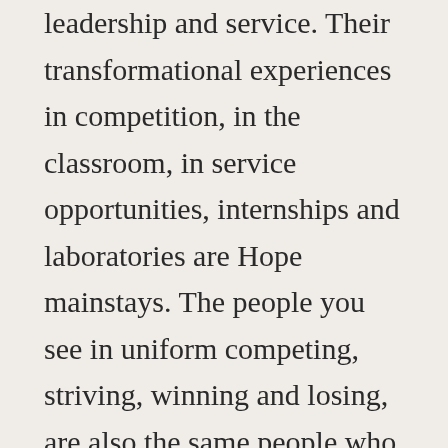leadership and service. Their transformational experiences in competition, in the classroom, in service opportunities, internships and laboratories are Hope mainstays. The people you see in uniform competing, striving, winning and losing, are also the same people who spend hours upon hours in plain clothes becoming and being their best selves. Frankly, we are proud of these student-athletes and coaches who really do work hard, very